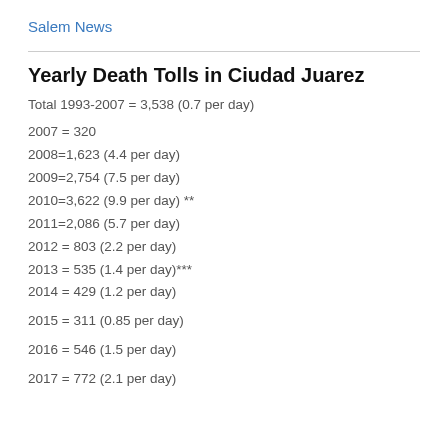Salem News
Yearly Death Tolls in Ciudad Juarez
Total 1993-2007 = 3,538 (0.7 per day)
2007 = 320
2008=1,623 (4.4 per day)
2009=2,754 (7.5 per day)
2010=3,622 (9.9 per day) **
2011=2,086 (5.7 per day)
2012 = 803 (2.2 per day)
2013 = 535 (1.4 per day)***
2014 = 429 (1.2 per day)
2015 = 311 (0.85 per day)
2016 = 546 (1.5 per day)
2017 = 772 (2.1 per day)